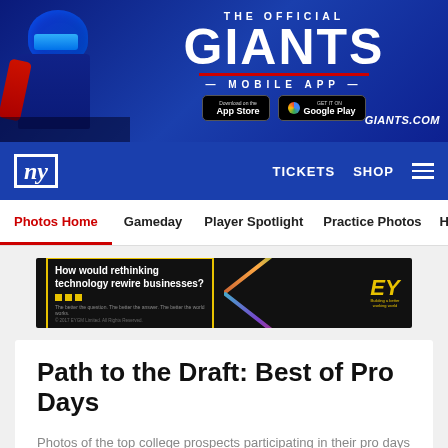[Figure (screenshot): New York Giants official website banner ad showing a football player in blue uniform, The Official GIANTS MOBILE APP text, App Store and Google Play buttons, GIANTS.COM]
NY Giants navigation bar with TICKETS, SHOP, and hamburger menu
Photos Home | Gameday | Player Spotlight | Practice Photos | His
[Figure (photo): EY advertisement banner: How would rethinking technology rewire businesses? with yellow border box, X graphic made of colored lines, EY logo]
Path to the Draft: Best of Pro Days
Photos of the top college prospects participating in their pro days